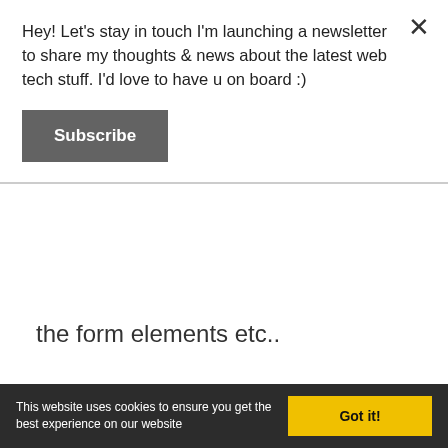Hey! Let's stay in touch I'm launching a newsletter to share my thoughts & news about the latest web tech stuff. I'd love to have u on board :)
Subscribe
the form elements etc..
Why even create Dynamic Forms
Dynamic forms can be a very powerful instrument. Imagine you have a varying
This website uses cookies to ensure you get the best experience on our website
Got it!